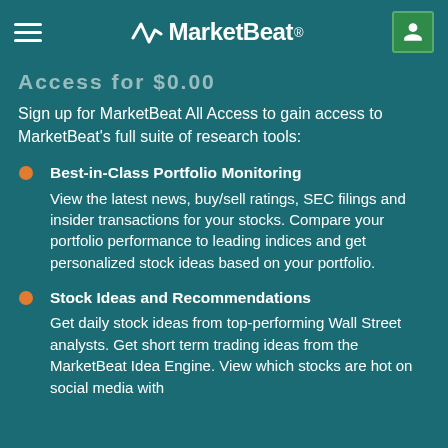MarketBeat
Access for $0.00
Sign up for MarketBeat All Access to gain access to MarketBeat's full suite of research tools:
Best-in-Class Portfolio Monitoring — View the latest news, buy/sell ratings, SEC filings and insider transactions for your stocks. Compare your portfolio performance to leading indices and get personalized stock ideas based on your portfolio.
Stock Ideas and Recommendations — Get daily stock ideas from top-performing Wall Street analysts. Get short term trading ideas from the MarketBeat Idea Engine. View which stocks are hot on social media with